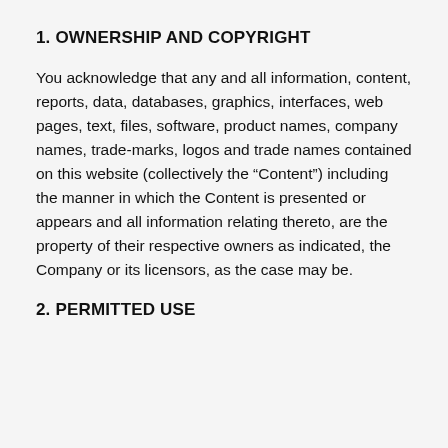1. OWNERSHIP AND COPYRIGHT
You acknowledge that any and all information, content, reports, data, databases, graphics, interfaces, web pages, text, files, software, product names, company names, trade-marks, logos and trade names contained on this website (collectively the “Content”) including the manner in which the Content is presented or appears and all information relating thereto, are the property of their respective owners as indicated, the Company or its licensors, as the case may be.
2. PERMITTED USE